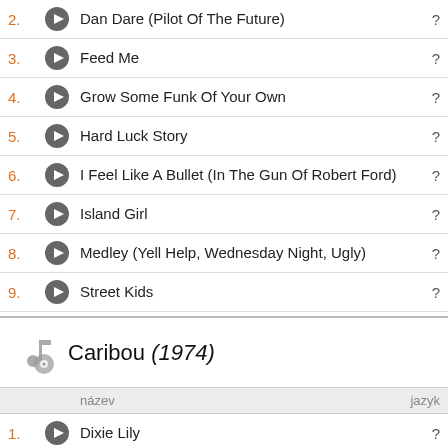2. Dan Dare (Pilot Of The Future) ?
3. Feed Me ?
4. Grow Some Funk Of Your Own ?
5. Hard Luck Story ?
6. I Feel Like A Bullet (In The Gun Of Robert Ford) ?
7. Island Girl ?
8. Medley (Yell Help, Wednesday Night, Ugly) ?
9. Street Kids ?
Caribou (1974)
| název | jazyk |
| --- | --- |
| 1. Dixie Lily | ? |
| 2. Don't Let The Sun Go Down On Me | ? |
| 3. Grimsby | ? |